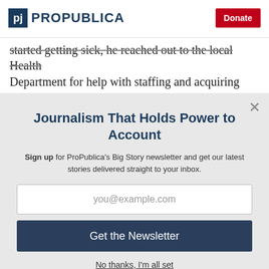ProPublica | Donate
started getting sick, he reached out to the local Health Department for help with staffing and acquiring
Journalism That Holds Power to Account
Sign up for ProPublica's Big Story newsletter and get our latest stories delivered straight to your inbox.
you@example.com
Get the Newsletter
No thanks, I'm all set
This site is protected by reCAPTCHA and the Google Privacy Policy and Terms of Service apply.